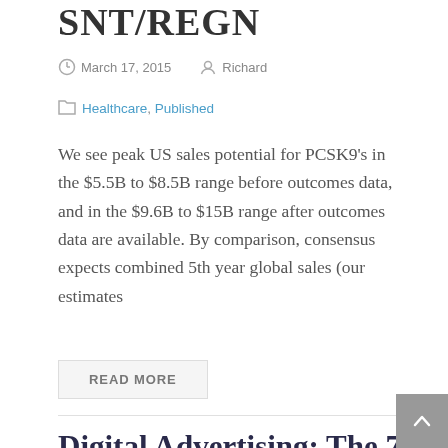SNT/REGN
March 17, 2015   Richard
Healthcare, Published
We see peak US sales potential for PCSK9’s in the $5.5B to $8.5B range before outcomes data, and in the $9.6B to $15B range after outcomes data are available. By comparison, consensus expects combined 5th year global sales (our estimates
READ MORE
Digital Advertising: The 7 Habits of Highly Effective